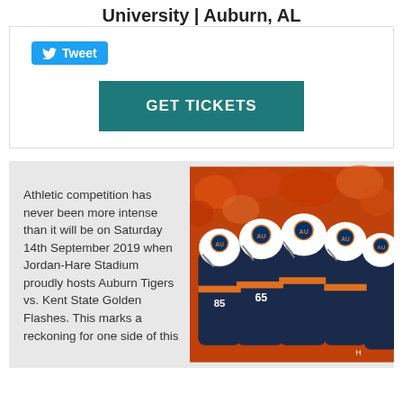University | Auburn, AL
Tweet
GET TICKETS
Athletic competition has never been more intense than it will be on Saturday 14th September 2019 when Jordan-Hare Stadium proudly hosts Auburn Tigers vs. Kent State Golden Flashes. This marks a reckoning for one side of this
[Figure (photo): Auburn Tigers football players in navy and orange uniforms huddling together wearing white helmets with AU logo, crowd visible in background]